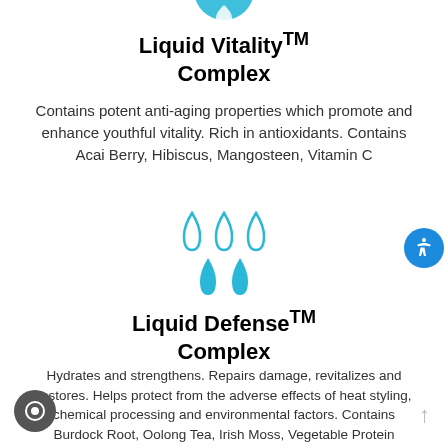[Figure (illustration): Cyan/teal circular icon with a water droplet or leaf symbol, partially visible at top center]
Liquid Vitality™ Complex
Contains potent anti-aging properties which promote and enhance youthful vitality. Rich in antioxidants. Contains Acai Berry, Hibiscus, Mangosteen, Vitamin C
[Figure (illustration): Three outline water droplet icons (top row) and two filled cyan water droplet icons (bottom row), arranged in a group]
Liquid Defense™ Complex
Hydrates and strengthens. Repairs damage, revitalizes and restores. Helps protect from the adverse effects of heat styling, chemical processing and environmental factors. Contains Burdock Root, Oolong Tea, Irish Moss, Vegetable Protein